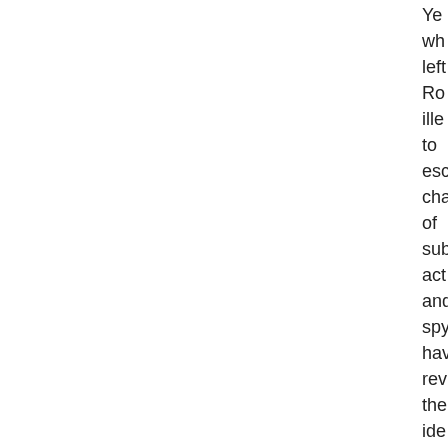Ye wh left Ro ille to esc cha of sub act and spy hav rev the ide of two und age by lea con tex